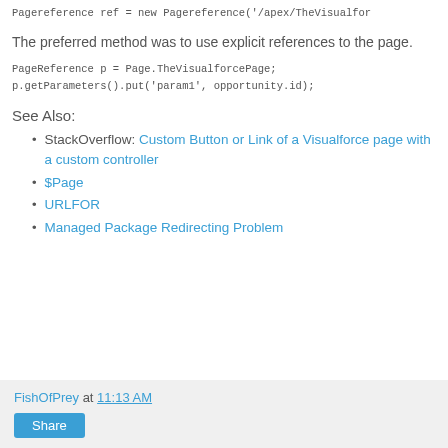Pagereference ref = new Pagereference('/apex/TheVisualfor
The preferred method was to use explicit references to the page.
PageReference p = Page.TheVisualforcePage;
p.getParameters().put('param1', opportunity.id);
See Also:
StackOverflow: Custom Button or Link of a Visualforce page with a custom controller
$Page
URLFOR
Managed Package Redirecting Problem
FishOfPrey at 11:13 AM  Share